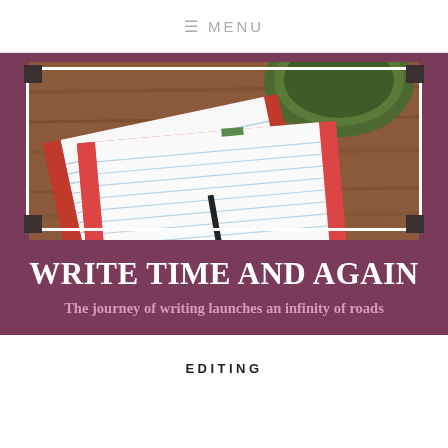≡ MENU
[Figure (photo): Photo of open notebooks with red covers on a wooden surface, with a green cup in the background, framed with a white border and dark corner decorations on a purple background]
WRITE TIME AND AGAIN
The journey of writing launches an infinity of roads
EDITING